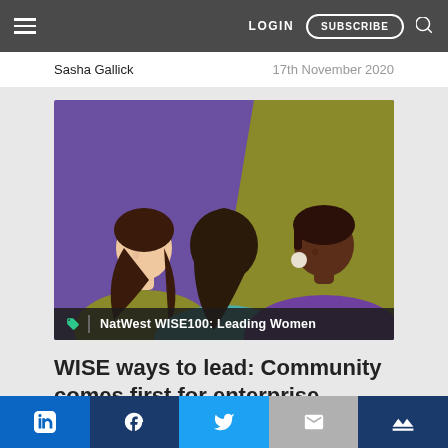LOGIN  SUBSCRIBE
Sasha Gallick    17th November 2020
[Figure (illustration): Illustration of three women in profile facing left, with purple and olive/yellow background. A tag overlay reads: NatWest WISE100: Leading Women]
NatWest WISE100: Leading Women
WISE ways to lead: Community comes first for enterprise
In exceptional times, you need exceptional leadership. Three women on this year's WISE Inspiration List demonstrate just
LinkedIn  Facebook  Twitter  Email  Crown